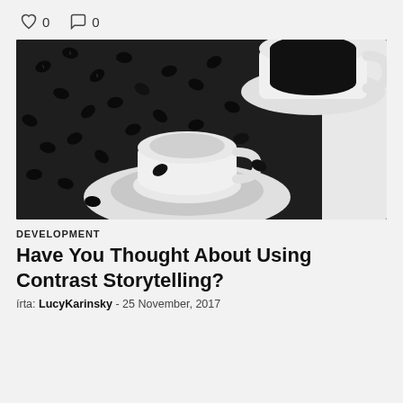♡ 0   ○ 0
[Figure (photo): Black and white overhead photo of two white coffee cups with black coffee, surrounded by scattered coffee beans on a white surface.]
DEVELOPMENT
Have You Thought About Using Contrast Storytelling?
írta: LucyKarinsky - 25 November, 2017